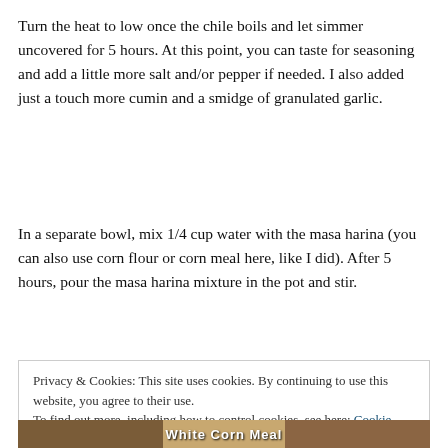Turn the heat to low once the chile boils and let simmer uncovered for 5 hours. At this point, you can taste for seasoning and add a little more salt and/or pepper if needed. I also added just a touch more cumin and a smidge of granulated garlic.
In a separate bowl, mix 1/4 cup water with the masa harina (you can also use corn flour or corn meal here, like I did). After 5 hours, pour the masa harina mixture in the pot and stir.
Privacy & Cookies: This site uses cookies. By continuing to use this website, you agree to their use.
To find out more, including how to control cookies, see here: Cookie Policy
Close and accept
[Figure (photo): Bottom strip showing a partial photo of a White Corn Meal package]